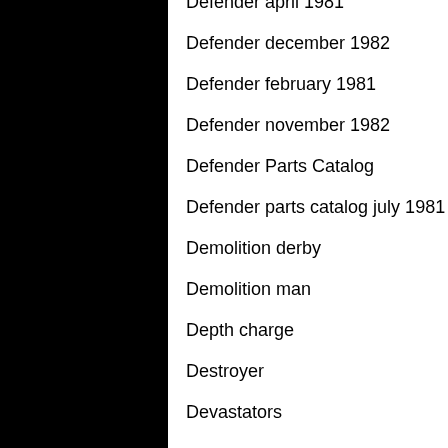Defender april 1981
Defender december 1982
Defender february 1981
Defender november 1982
Defender Parts Catalog
Defender parts catalog july 1981
Demolition derby
Demolition man
Depth charge
Destroyer
Devastators